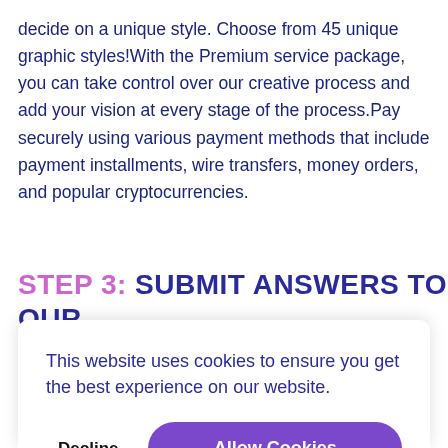decide on a unique style. Choose from 45 unique graphic styles!With the Premium service package, you can take control over our creative process and add your vision at every stage of the process.Pay securely using various payment methods that include payment installments, wire transfers, money orders, and popular cryptocurrencies.
STEP 3: SUBMIT ANSWERS TO OUR
This website uses cookies to ensure you get the best experience on our website.
Decline   Allow Cookies